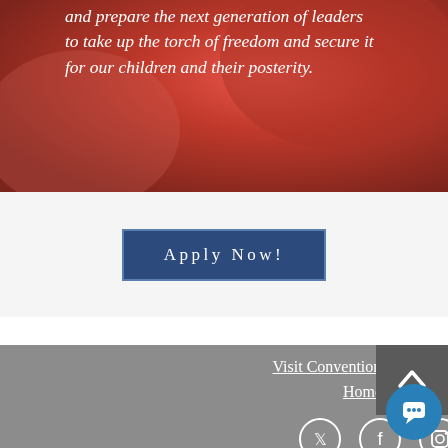[Figure (photo): Red/dark red background image (abstract or rose/flower?) with white italic text overlay]
and prepare the next generation of leaders to take up the torch of freedom and secure it for our children and their posterity.
Apply Now!
Visit Convention of States Action Home Page
[Figure (infographic): Social media icons: Twitter, Facebook, Instagram circles in white outline on gray background]
[Figure (other): Back to top arrow button (dark gray)]
[Figure (other): Blue circular chat button]